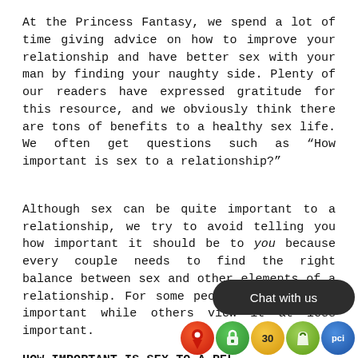At the Princess Fantasy, we spend a lot of time giving advice on how to improve your relationship and have better sex with your man by finding your naughty side. Plenty of our readers have expressed gratitude for this resource, and we obviously think there are tons of benefits to a healthy sex life. We often get questions such as “How important is sex to a relationship?”
Although sex can be quite important to a relationship, we try to avoid telling you how important it should be to you because every couple needs to find the right balance between sex and other elements of a relationship. For some people, sex is more important while others view it at less important.
HOW IMPORTANT IS SEX TO A REL…
The truth is, it depends. It de… with. Sex might be more impo…tant to a relationship…
[Figure (screenshot): Chat with us overlay button (dark rounded rectangle) and four app icons: map pin, green lock, yellow 30, green shopping bag, blue PCI badge]